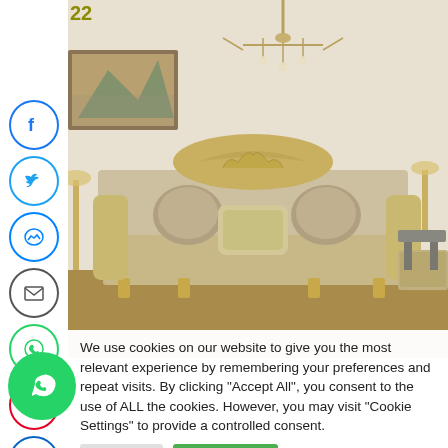[Figure (photo): Luxury ornate sofa with gold carved frame and decorative pillows in an elegant living room with chandelier]
We use cookies on our website to give you the most relevant experience by remembering your preferences and repeat visits. By clicking "Accept All", you consent to the use of ALL the cookies. However, you may visit "Cookie Settings" to provide a controlled consent.
Settings | Accept All